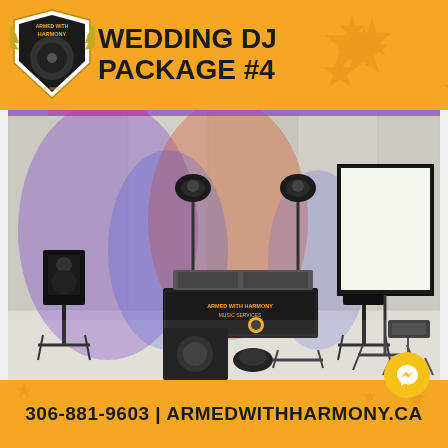[Figure (logo): Armed with Harmony Music Services shield logo with wings and vinyl record]
WEDDING DJ PACKAGE #4
[Figure (photo): DJ setup photo showing speakers on stands, moving head lights, DJ booth with Armed With Harmony Music Services banner, subwoofer, projection screen, and projector in a banquet hall with colored uplighting (purple, red, orange)]
306-881-9603 | ARMEDWITHHARMONY.CA
[Figure (logo): Facebook Messenger icon in yellow circle]